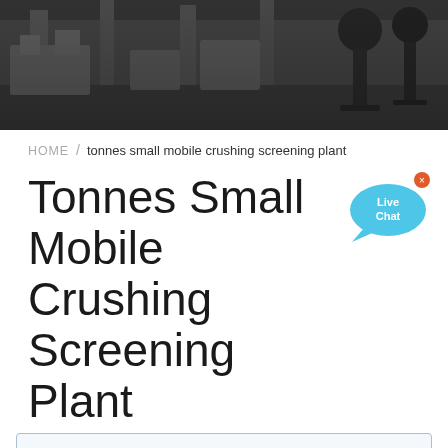[Figure (photo): Factory/industrial facility interior hero banner image, dark/moody with machinery and equipment visible]
HOME / tonnes small mobile crushing screening plant
Tonnes Small Mobile Crushing Screening Plant
[Figure (illustration): Live Chat speech bubble icon in light blue with 'Live Chat' text and a small x close button]
Please state your needs
Anhui Meilan Intelligent Equipment Manufacturing Co., Ltd. warmly welcome all walks of life to contact us, we are waiting for your inquiry all day!